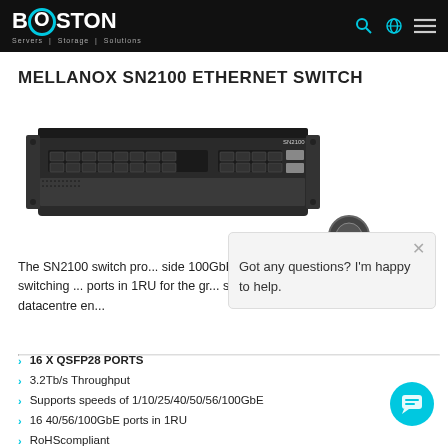BOSTON Servers | Storage | Solutions
MELLANOX SN2100 ETHERNET SWITCH
[Figure (photo): Photo of the Mellanox SN2100 Ethernet Switch, a 1RU rack-mounted network switch with 16 QSFP28 ports on the front panel, dark grey chassis.]
The SN2100 switch pro... side 100GbE switching ... ports in 1RU for the gr... storage, datacentre en...
[Figure (other): Chat popup overlay with Boston logo avatar and message 'Got any questions? I'm happy to help.' with a close button.]
16 X QSFP28 PORTS
3.2Tb/s Throughput
Supports speeds of 1/10/25/40/50/56/100GbE
16 40/56/100GbE ports in 1RU
RoHScompliant